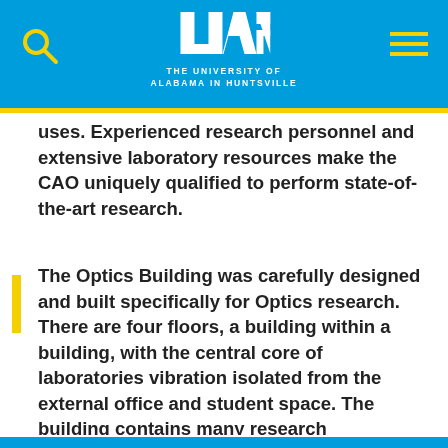THE UNIVERSITY OF ALABAMA IN HUNTSVILLE
uses. Experienced research personnel and extensive laboratory resources make the CAO uniquely qualified to perform state-of-the-art research.
The Optics Building was carefully designed and built specifically for Optics research. There are four floors, a building within a building, with the central core of laboratories vibration isolated from the external office and student space. The building contains many research laboratories, classrooms, meeting rooms and offices for the Center for Applied Optics, Nano and Micro Devices Laboratory, the Department of Physics and Astronomy, Electrical and Computer Engineering, and Mechanical Engineering.